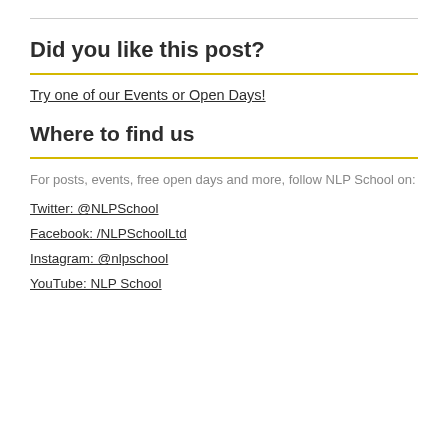Did you like this post?
Try one of our Events or Open Days!
Where to find us
For posts, events, free open days and more, follow NLP School on:
Twitter: @NLPSchool
Facebook: /NLPSchoolLtd
Instagram: @nlpschool
YouTube: NLP School